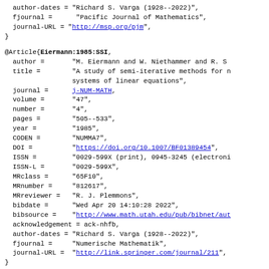author-dates = "Richard S. Varga (1928--2022)",
  fjournal =      "Pacific Journal of Mathematics",
  journal-URL = "http://msp.org/pjm",
}
@Article{Eiermann:1985:SSI,
  author =       "M. Eiermann and W. Niethammer and R. S..."
  title =        "A study of semi-iterative methods for n...
                 systems of linear equations",
  journal =      j-NUM-MATH,
  volume =       "47",
  number =       "4",
  pages =        "505--533",
  year =         "1985",
  CODEN =        "NUMMA7",
  DOI =          "https://doi.org/10.1007/BF01389454",
  ISSN =         "0029-599X (print), 0945-3245 (electroni...
  ISSN-L =       "0029-599X",
  MRclass =      "65F10",
  MRnumber =     "812617",
  MRreviewer =   "R. J. Plemmons",
  bibdate =      "Wed Apr 20 14:10:28 2022",
  bibsource =    "http://www.math.utah.edu/pub/bibnet/aut..."
  acknowledgement = ack-nhfb,
  author-dates = "Richard S. Varga (1928--2022)",
  fjournal =     "Numerische Mathematik",
  journal-URL =  "http://link.springer.com/journal/211",
}
@Article{Eiermann:1985:SSM,